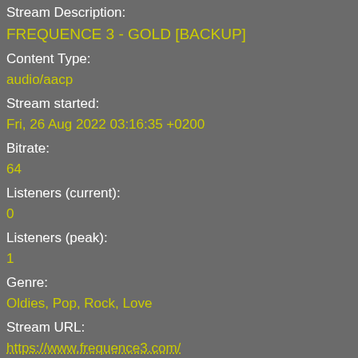Stream Description:
FREQUENCE 3 - GOLD [BACKUP]
Content Type:
audio/aacp
Stream started:
Fri, 26 Aug 2022 03:16:35 +0200
Bitrate:
64
Listeners (current):
0
Listeners (peak):
1
Genre:
Oldies, Pop, Rock, Love
Stream URL:
https://www.frequence3.com/
Currently playing:
Here Comes The Rain Again - Eurythmics: